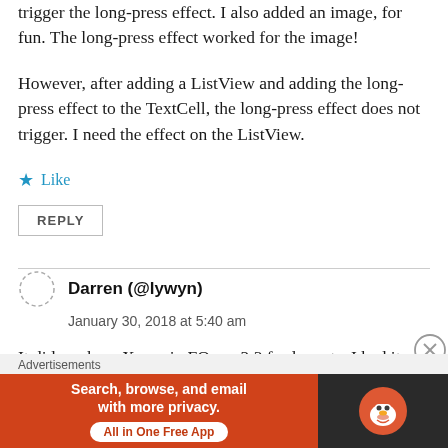trigger the long-press effect. I also added an image, for fun. The long-press effect worked for the image!
However, after adding a ListView and adding the long-press effect to the TextCell, the long-press effect does not trigger. I need the effect on the ListView.
★ Like
REPLY
Darren (@lywyn)
January 30, 2018 at 5:40 am
It did work on Xamarin FOrms 2.3 for layouts, I had it
[Figure (screenshot): DuckDuckGo advertisement banner with orange background on left reading 'Search, browse, and email with more privacy. All in One Free App' and dark background on right with DuckDuckGo duck logo]
Advertisements